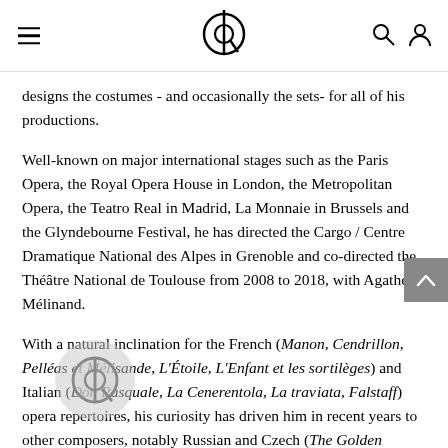Opera Platform header with menu, logo, search and account icons
designs the costumes - and occasionally the sets- for all of his productions.
Well-known on major international stages such as the Paris Opera, the Royal Opera House in London, the Metropolitan Opera, the Teatro Real in Madrid, La Monnaie in Brussels and the Glyndebourne Festival, he has directed the Cargo / Centre Dramatique National des Alpes in Grenoble and co-directed the Théâtre National de Toulouse from 2008 to 2018, with Agathe Mélinand.
With a natural inclination for the French (Manon, Cendrillon, Pelléas et Mélisande, L'Étoile, L'Enfant et les sortilèges) and Italian (Don Pasquale, La Cenerentola, La traviata, Falstaff) opera repertoires, his curiosity has driven him in recent years to other composers, notably Russian and Czech (The Golden Cockerel, The Love for...